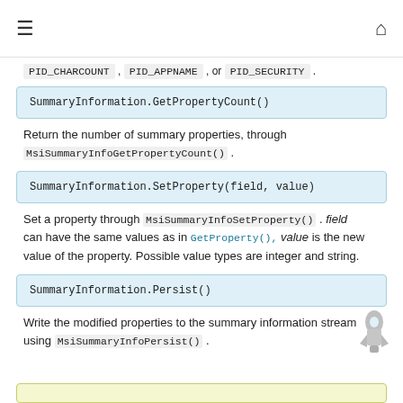≡  🏠
PID_CHARCOUNT , PID_APPNAME , or PID_SECURITY .
SummaryInformation.GetPropertyCount()
Return the number of summary properties, through MsiSummaryInfoGetPropertyCount() .
SummaryInformation.SetProperty(field, value)
Set a property through MsiSummaryInfoSetProperty() . field can have the same values as in GetProperty(), value is the new value of the property. Possible value types are integer and string.
SummaryInformation.Persist()
Write the modified properties to the summary information stream using MsiSummaryInfoPersist() .